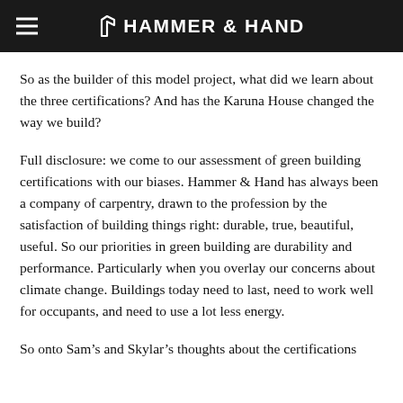HAMMER & HAND
So as the builder of this model project, what did we learn about the three certifications?  And has the Karuna House changed the way we build?
Full disclosure: we come to our assessment of green building certifications with our biases.  Hammer & Hand has always been a company of carpentry, drawn to the profession by the satisfaction of building things right: durable, true, beautiful, useful.  So our priorities in green building are durability and performance.  Particularly when you overlay our concerns about climate change.  Buildings today need to last, need to work well for occupants, and need to use a lot less energy.
So onto Sam's and Skylar's thoughts about the certifications...